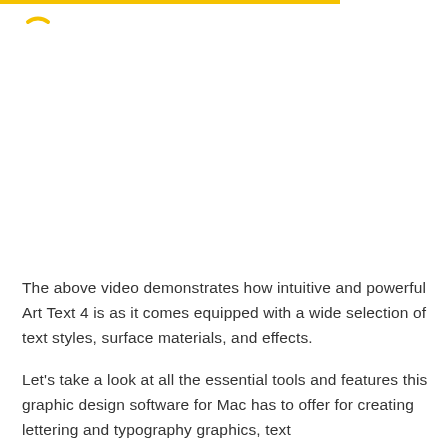[Figure (logo): Yellow curved arc shape resembling a loading spinner or stylized letter mark, positioned top-left below a yellow horizontal bar.]
The above video demonstrates how intuitive and powerful Art Text 4 is as it comes equipped with a wide selection of text styles, surface materials, and effects.
Let's take a look at all the essential tools and features this graphic design software for Mac has to offer for creating lettering and typography graphics, text